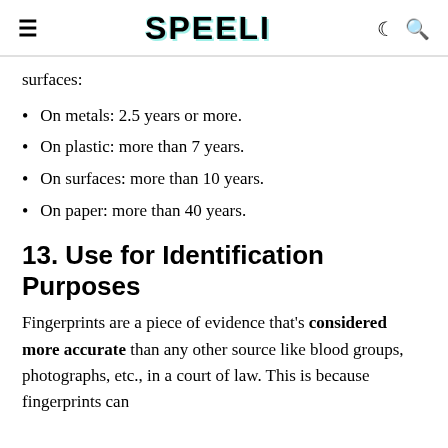SPEELI
surfaces:
On metals: 2.5 years or more.
On plastic: more than 7 years.
On surfaces: more than 10 years.
On paper: more than 40 years.
13. Use for Identification Purposes
Fingerprints are a piece of evidence that's considered more accurate than any other source like blood groups, photographs, etc., in a court of law. This is because fingerprints can